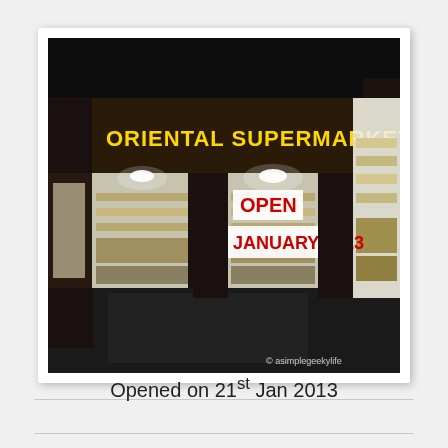[Figure (photo): Night photograph of an Oriental Supermarket storefront with illuminated yellow sign reading 'ORIENTAL SUPERMARKET' and a red sign in the window reading 'OPEN 21 JANUARY 2013'. The store windows show shelves stocked with goods. A watermark reads '© asimplegeekylife'.]
Opened on 21st Jan 2013